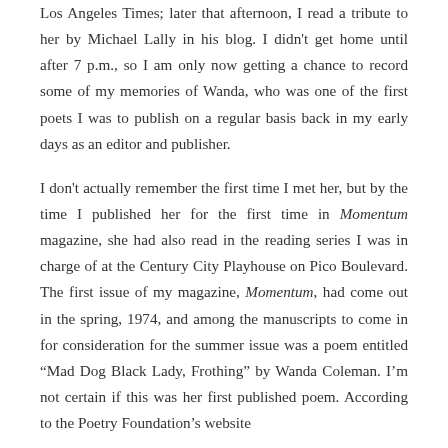Los Angeles Times; later that afternoon, I read a tribute to her by Michael Lally in his blog. I didn't get home until after 7 p.m., so I am only now getting a chance to record some of my memories of Wanda, who was one of the first poets I was to publish on a regular basis back in my early days as an editor and publisher.
I don't actually remember the first time I met her, but by the time I published her for the first time in Momentum magazine, she had also read in the reading series I was in charge of at the Century City Playhouse on Pico Boulevard. The first issue of my magazine, Momentum, had come out in the spring, 1974, and among the manuscripts to come in for consideration for the summer issue was a poem entitled "Mad Dog Black Lady, Frothing" by Wanda Coleman. I'm not certain if this was her first published poem. According to the Poetry Foundation's website